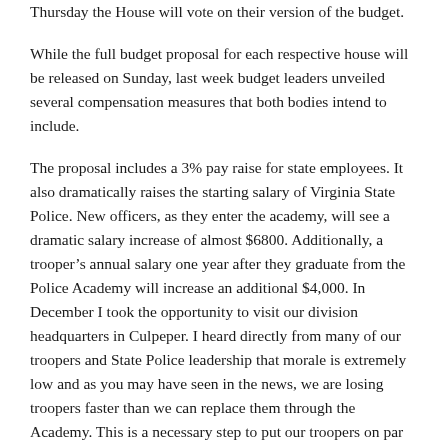Thursday the House will vote on their version of the budget.
While the full budget proposal for each respective house will be released on Sunday, last week budget leaders unveiled several compensation measures that both bodies intend to include.
The proposal includes a 3% pay raise for state employees. It also dramatically raises the starting salary of Virginia State Police. New officers, as they enter the academy, will see a dramatic salary increase of almost $6800. Additionally, a trooper's annual salary one year after they graduate from the Police Academy will increase an additional $4,000. In December I took the opportunity to visit our division headquarters in Culpeper. I heard directly from many of our troopers and State Police leadership that morale is extremely low and as you may have seen in the news, we are losing troopers faster than we can replace them through the Academy. This is a necessary step to put our troopers on par with surrounding states and stop the hemorrhaging moving forward.
Finally, the proposal includes funds to address salary compression